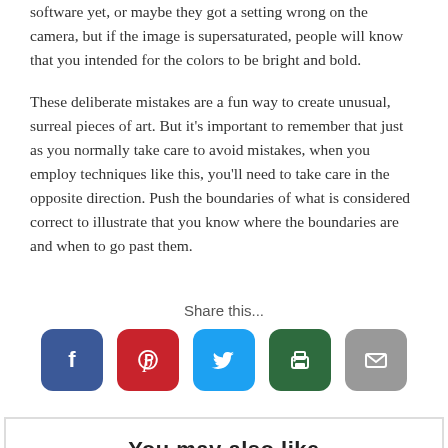software yet, or maybe they got a setting wrong on the camera, but if the image is supersaturated, people will know that you intended for the colors to be bright and bold.
These deliberate mistakes are a fun way to create unusual, surreal pieces of art. But it's important to remember that just as you normally take care to avoid mistakes, when you employ techniques like this, you'll need to take care in the opposite direction. Push the boundaries of what is considered correct to illustrate that you know where the boundaries are and when to go past them.
Share this...
[Figure (infographic): Social share buttons: Facebook (blue), Pinterest (red), Twitter (light blue), Print (dark green), Email (gray)]
You may also like